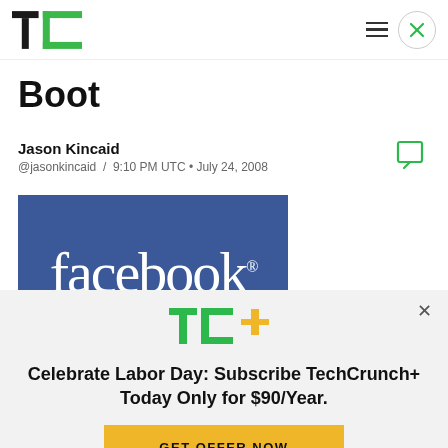TechCrunch header with logo, hamburger menu, and close button
Boot
Jason Kincaid
@jasonkincaid  /  9:10 PM UTC • July 24, 2008
[Figure (logo): Facebook logo on blue background with white text reading 'facebook.']
[Figure (logo): TechCrunch+ logo (TC+ in green and gold)]
Celebrate Labor Day: Subscribe TechCrunch+ Today Only for $90/Year.
GET OFFER NOW